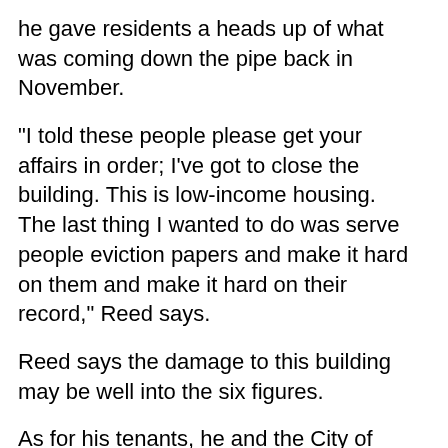he gave residents a heads up of what was coming down the pipe back in November.
"I told these people please get your affairs in order; I've got to close the building. This is low-income housing. The last thing I wanted to do was serve people eviction papers and make it hard on them and make it hard on their record," Reed says.
Reed says the damage to this building may be well into the six figures.
As for his tenants, he and the City of Detroit say they're helping them find temporary housing.
They city will shutdown the apartment building on Friday.